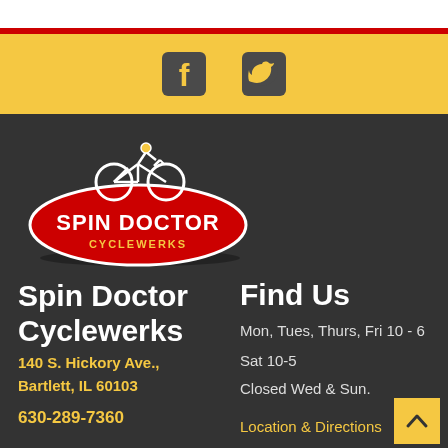[Figure (logo): Facebook and Twitter social media icons on yellow background]
[Figure (logo): Spin Doctor Cyclewerks logo — red oval with cyclist figure and company name]
Spin Doctor Cyclewerks
140 S. Hickory Ave., Bartlett, IL 60103
630-289-7360
Find Us
Mon, Tues, Thurs, Fri 10 - 6
Sat 10-5
Closed Wed & Sun.
Location & Directions